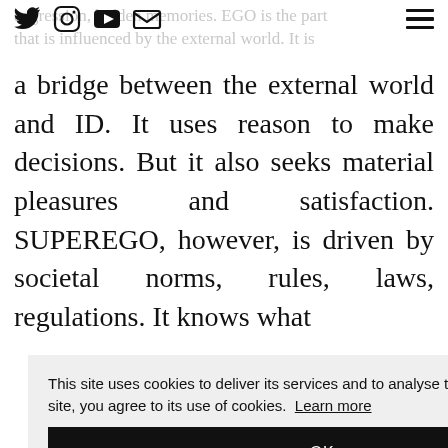Social media icons (Twitter, Instagram, YouTube, Email) and hamburger menu
aggression, hidden memories. EGO is the part that is influenced by the external world. It is a bridge between the external world and ID. It uses reason to make decisions. But it also seeks material pleasures and satisfaction. SUPEREGO, however, is driven by societal norms, rules, laws, regulations. It knows what
This site uses cookies to deliver its services and to analyse traffic. By using this site, you agree to its use of cookies. Learn more
OK
our ing rch, e as